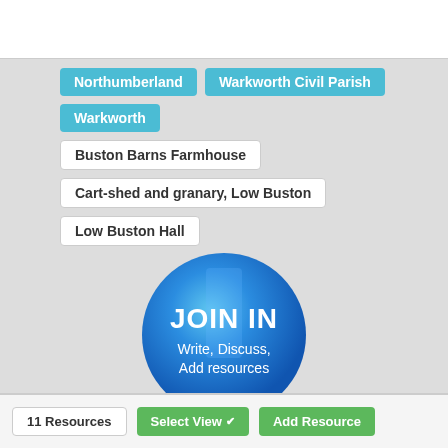Northumberland
Warkworth Civil Parish
Warkworth
Buston Barns Farmhouse
Cart-shed and granary, Low Buston
Low Buston Hall
[Figure (illustration): A blue map pin icon with text 'JOIN IN' in bold white and 'Write, Discuss, Add resources' below it]
11 Resources
Select View
Add Resource